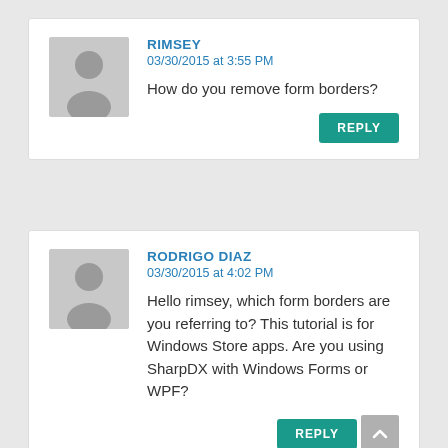RIMSEY
03/30/2015 at 3:55 PM
How do you remove form borders?
REPLY
RODRIGO DIAZ
03/30/2015 at 4:02 PM
Hello rimsey, which form borders are you referring to? This tutorial is for Windows Store apps. Are you using SharpDX with Windows Forms or WPF?
REPLY